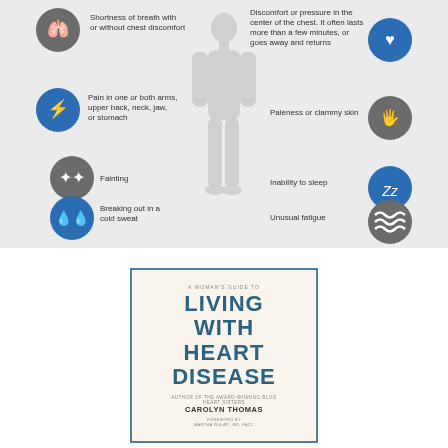[Figure (infographic): Medical infographic showing heart attack symptoms on a human body silhouette. Left side symptoms: Shortness of breath with or without chest discomfort (lungs icon), Pain in one or both arms, upper back, neck, jaw, or stomach (lightning icon), Fainting (stars icon), Breaking out in a cold sweat (sweat drops icon). Right side symptoms: Discomfort or pressure in the center of the chest, it often lasts more than a few minutes, or goes away and returns (heart icon), Paleness or clammy skin (hand icon), Inability to sleep (Zz icon), Unusual fatigue (wavy lines icon). Blue and grey circular icons on grey background.]
[Figure (illustration): Book cover: 'A Woman's Guide to Living with Heart Disease' by Carolyn Thomas, foreword by Martha Gulati, MD, FACC. Light cream/beige background with blue border and blue text.]